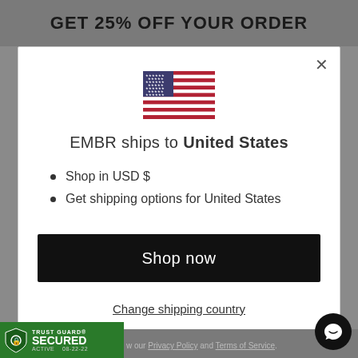GET 25% OFF YOUR ORDER
[Figure (illustration): US flag emoji/icon]
EMBR ships to United States
Shop in USD $
Get shipping options for United States
Shop now
Change shipping country
[Figure (logo): Trust Guard Secured Active 08-22-22 badge]
Privacy Policy and Terms of Service.